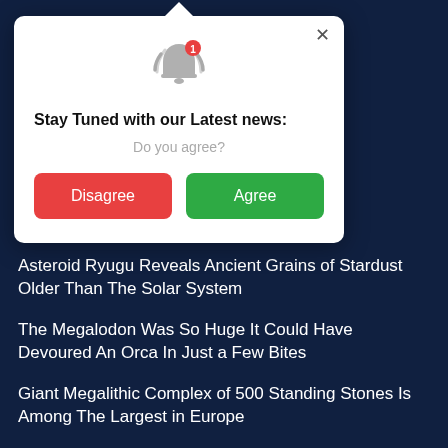[Figure (screenshot): Browser push notification permission popup modal with bell icon, title 'Stay Tuned with our Latest news:', subtitle 'Do you agree?', and two buttons: 'Disagree' (red) and 'Agree' (green). Close X button in top right. Modal has speech-bubble triangle pointing upward.]
Asteroid Ryugu Reveals Ancient Grains of Stardust Older Than The Solar System
The Megalodon Was So Huge It Could Have Devoured An Orca In Just a Few Bites
Giant Megalithic Complex of 500 Standing Stones Is Among The Largest in Europe
NASA Is About to Launch Its Most Powerful Rocket Ever, With a Few Surprises Onboard